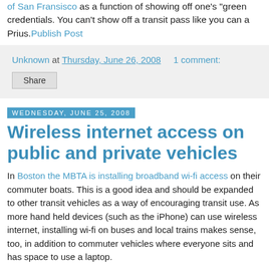of San Fransisco as a function of showing off one's 'green credentials. You can't show off a transit pass like you can a Prius.Publish Post
Unknown at Thursday, June 26, 2008   1 comment:
Share
Wednesday, June 25, 2008
Wireless internet access on public and private vehicles
In Boston the MBTA is installing broadband wi-fi access on their commuter boats. This is a good idea and should be expanded to other transit vehicles as a way of encouraging transit use. As more hand held devices (such as the iPhone) can use wireless internet, installing wi-fi on buses and local trains makes sense, too, in addition to commuter vehicles where everyone sits and has space to use a laptop.
However, Chysler is threatening to derail all the goodness of